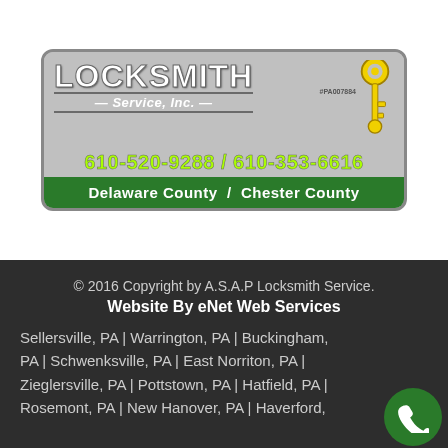[Figure (logo): ASAP Locksmith Service Inc. advertisement banner. Shows 'LOCKSMITH Service, Inc.' in white/green text on gray background, license #PA007884, phone numbers 610-520-9288 / 610-353-6616 in yellow-green, and 'Delaware County / Chester County' in white on green bar. Yellow key icon on right.]
© 2016 Copyright by A.S.A.P Locksmith Service. Website By eNet Web Services
Sellersville, PA | Warrington, PA | Buckingham, PA | Schwenksville, PA | East Norriton, PA | Zieglersville, PA | Pottstown, PA | Hatfield, PA | Rosemont, PA | New Hanover, PA | Haverford,